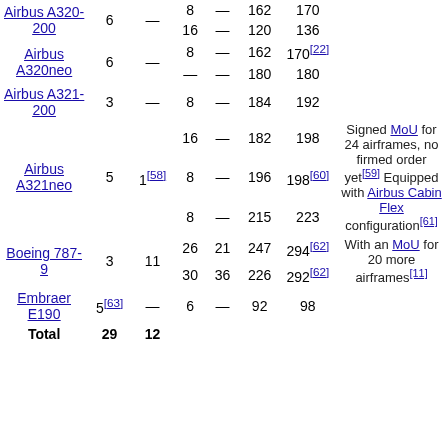| Aircraft | In fleet | On order | Business | Premium Economy | Economy | Total | Notes |
| --- | --- | --- | --- | --- | --- | --- | --- |
| Airbus A320-200 | 6 | — | 8 | — | 162 | 170 |  |
| Airbus A320-200 |  |  | 16 | — | 120 | 136 |  |
| Airbus A320neo | 6 | — | 8 | — | 162 | 170[22] |  |
| Airbus A320neo |  |  | — | — | 180 | 180 |  |
| Airbus A321-200 | 3 | — | 8 | — | 184 | 192 |  |
|  |  |  | 16 | — | 182 | 198 | Signed MoU for 24 airframes, no firmed order yet[59] |
| Airbus A321neo | 5 | 1[58] | 8 | — | 196 | 198[60] | Equipped with Airbus Cabin Flex configuration[61] |
|  |  |  | 8 | — | 215 | 223 |  |
| Boeing 787-9 | 3 | 11 | 26 | 21 | 247 | 294[62] | With an MoU for 20 more airframes[11] |
| Boeing 787-9 |  |  | 30 | 36 | 226 | 292[62] |  |
| Embraer E190 | 5[63] | — | 6 | — | 92 | 98 |  |
| Total | 29 | 12 |  |  |  |  |  |